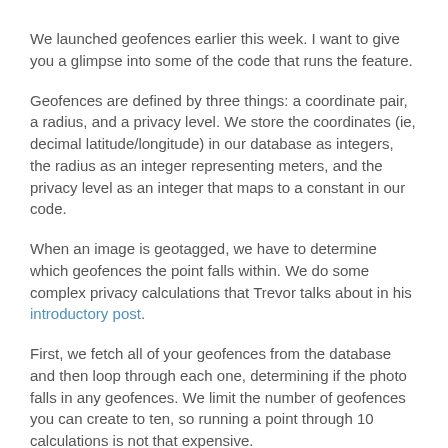We launched geofences earlier this week. I want to give you a glimpse into some of the code that runs the feature.
Geofences are defined by three things: a coordinate pair, a radius, and a privacy level. We store the coordinates (ie, decimal latitude/longitude) in our database as integers, the radius as an integer representing meters, and the privacy level as an integer that maps to a constant in our code.
When an image is geotagged, we have to determine which geofences the point falls within. We do some complex privacy calculations that Trevor talks about in his introductory post.
First, we fetch all of your geofences from the database and then loop through each one, determining if the photo falls in any geofences. We limit the number of geofences you can create to ten, so running a point through 10 calculations is not that expensive.
We use the great-circle distance formula to figure out how far the image is from the center of a geofence. If this distance is less than the radius of the geofence, the geofence applies.